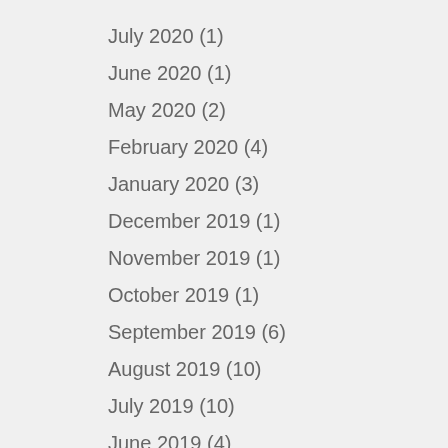July 2020 (1)
June 2020 (1)
May 2020 (2)
February 2020 (4)
January 2020 (3)
December 2019 (1)
November 2019 (1)
October 2019 (1)
September 2019 (6)
August 2019 (10)
July 2019 (10)
June 2019 (4)
May 2019 (11)
April 2019 (6)
March 2019 (4)